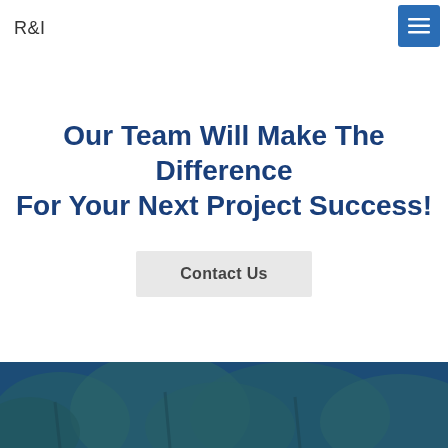R&I
Our Team Will Make The Difference For Your Next Project Success!
Contact Us
[Figure (photo): Blue-tinted photo of trees/foliage at the bottom of the page]